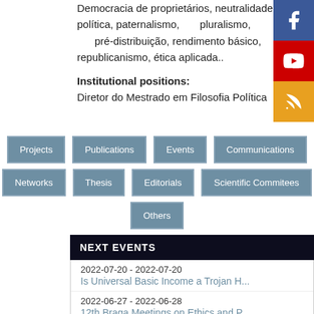Democracia de proprietários, neutralidade política, paternalismo, pluralismo, pré-distribuição, rendimento básico, republicanismo, ética aplicada..
Institutional positions:
Diretor do Mestrado em Filosofia Política
[Figure (other): Facebook icon button (blue square with white F logo)]
[Figure (other): YouTube icon button (red square with white play button logo)]
[Figure (other): RSS icon button (orange square with white RSS logo)]
Projects
Publications
Events
Communications
Networks
Thesis
Editorials
Scientific Commitees
Others
NEXT EVENTS
2022-07-20 - 2022-07-20
Is Universal Basic Income a Trojan H...
2022-06-27 - 2022-06-28
12th Braga Meetings on Ethics and P...